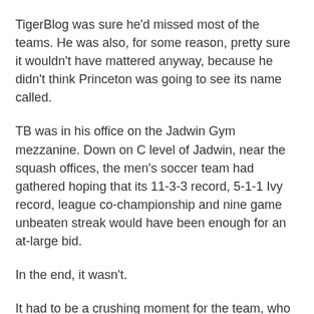TigerBlog was sure he'd missed most of the teams. He was also, for some reason, pretty sure it wouldn't have mattered anyway, because he didn't think Princeton was going to see its name called.
TB was in his office on the Jadwin Gym mezzanine. Down on C level of Jadwin, near the squash offices, the men's soccer team had gathered hoping that its 11-3-3 record, 5-1-1 Ivy record, league co-championship and nine game unbeaten streak would have been enough for an at-large bid.
In the end, it wasn't.
It had to be a crushing moment for the team, who apparently had to deal with the same buffering. They got to the Zanfrini Room with such high hopes and left knowing that their season had ended, without getting a chance to participate in the NCAA tournament.
TigerBlog was at Roberts Stadium on Oct. 4 when Dartmouth scored in overtime to beat the Tigers 2-1. The